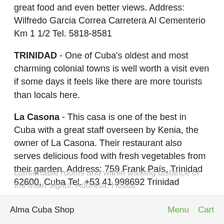great food and even better views. Address: Wilfredo Garcia Correa Carretera Al Cementerio Km 1 1/2 Tel. 5818-8581
TRINIDAD - One of Cuba's oldest and most charming colonial towns is well worth a visit even if some days it feels like there are more tourists than locals here.
La Casona - This casa is one of the best in Cuba with a great staff overseen by Kenia, the owner of La Casona. Their restaurant also serves delicious food with fresh vegetables from their garden. Address: 759 Frank País, Trinidad 62600, Cuba Tel. +53 41 998692 Trinidad
Hostal Maria - Centrally located with a helpful staff and comfortable rooms, Hostal Maria is another great option
Alma Cuba Shop   Menu   Cart